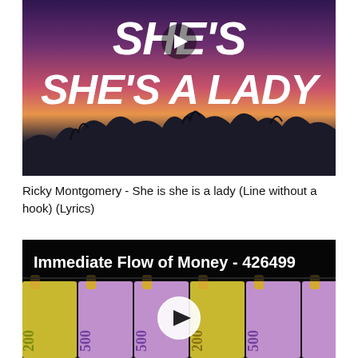[Figure (screenshot): YouTube video thumbnail for 'She's She's a Lady' by Ricky Montgomery, showing a sunset/dusk sky with silhouetted trees and bold white italic text.]
Ricky Montgomery - She is she is a lady (Line without a hook) (Lyrics)
[Figure (screenshot): YouTube video thumbnail showing euro banknotes (200 and 500 denominations) hanging from a line with clips, with text 'Immediate Flow of Money - 426499' and a play button.]